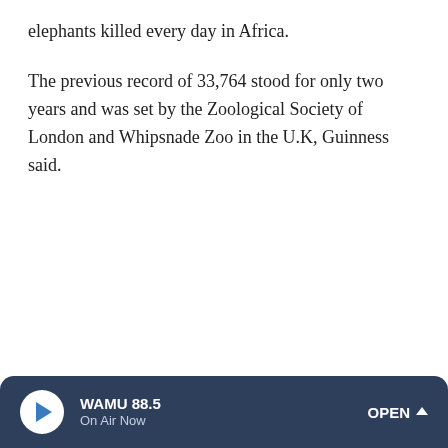elephants killed every day in Africa.
The previous record of 33,764 stood for only two years and was set by the Zoological Society of London and Whipsnade Zoo in the U.K, Guinness said.
WAMU 88.5 On Air Now OPEN